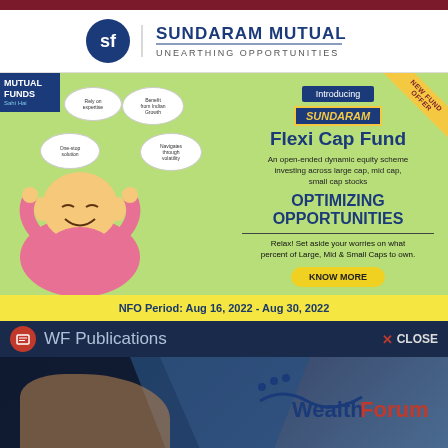[Figure (logo): Sundaram Mutual - Unearthing Opportunities logo with SF icon]
[Figure (infographic): Sundaram Mutual Flexi Cap Fund advertisement. Green background with laughing Buddha illustration with speech bubbles. Right side: Introducing Sundaram Flexi Cap Fund - An open-ended dynamic equity scheme investing across large cap, mid cap, small cap stocks. OPTIMIZING OPPORTUNITIES. Relax! Set aside your worries on what percent of Large, Mid & Small Caps to own. KNOW MORE button. NFO Period: Aug 16, 2022 - Aug 30, 2022.]
WF Publications
[Figure (photo): WealthForum publication image with hand holding card on dark blue background, WealthForum logo top right]